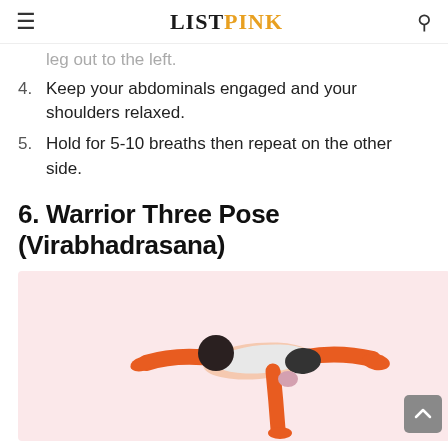LISTPINK
leg out to the left.
4. Keep your abdominals engaged and your shoulders relaxed.
5. Hold for 5-10 breaths then repeat on the other side.
6. Warrior Three Pose (Virabhadrasana)
[Figure (illustration): Illustration of a person performing the Warrior Three Pose (Virabhadrasana) — balancing on one leg with arms and the other leg extended horizontally, wearing white and orange athletic clothing, on a light pink background.]